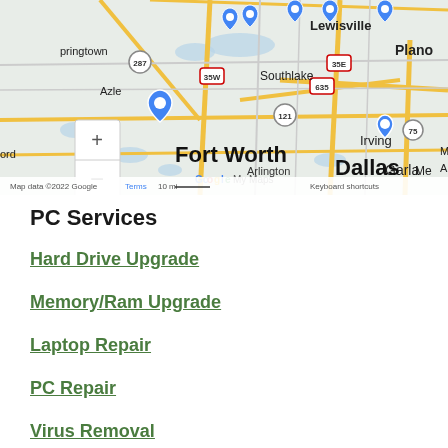[Figure (map): Google My Maps showing DFW area (Fort Worth, Dallas, Lewisville, Southlake, Irving, Plano, Garland, Azle, Arlington) with blue location pins. Map data ©2022 Google. Shows highway markers 35W, 35E, 287, 121, 635, 75. Scale: 10 mi.]
PC Services
Hard Drive Upgrade
Memory/Ram Upgrade
Laptop Repair
PC Repair
Virus Removal